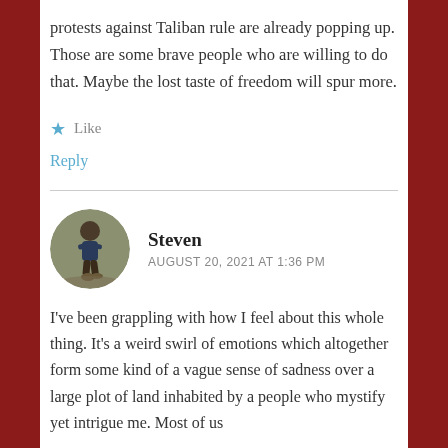protests against Taliban rule are already popping up. Those are some brave people who are willing to do that. Maybe the lost taste of freedom will spur more.
★ Like
Reply
Steven
AUGUST 20, 2021 AT 1:36 PM
I've been grappling with how I feel about this whole thing. It's a weird swirl of emotions which altogether form some kind of a vague sense of sadness over a large plot of land inhabited by a people who mystify yet intrigue me. Most of us...